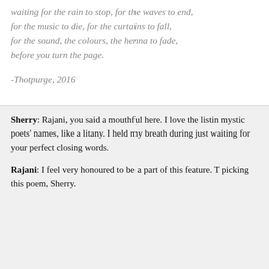waiting for the rain to stop, for the waves to end,
for the music to die, for the curtains to fall,
for the sound, the colours, the henna to fade,
before you turn the page.
-Thotpurge, 2016
Sherry: Rajani, you said a mouthful here. I love the listing of mystic poets' names, like a litany. I held my breath during just waiting for your perfect closing words.
Rajani: I feel very honoured to be a part of this feature. T picking this poem, Sherry.